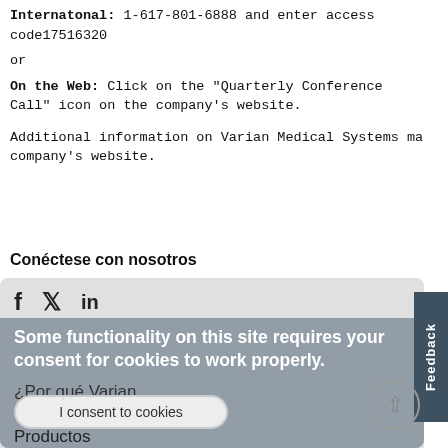Internatonal: 1-617-801-6888 and enter access code17516320
or
On the Web: Click on the "Quarterly Conference Call" icon on the company's website.
Additional information on Varian Medical Systems ma... company's website.
Conéctese con nosotros
[Figure (infographic): Social media icons: Facebook (f), Twitter (bird), LinkedIn (in)]
Some functionality on this site requires your consent for cookies to work properly.
¿Por qué Varian
I consent to cookies
Productos
Recursos y asistencia técnica
Oportunidades profesionales